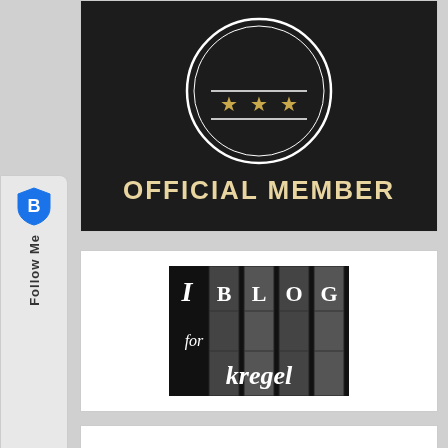[Figure (logo): Official Member badge with dark background, circular emblem with stars, text 'OFFICIAL MEMBER' in gold letters]
[Figure (logo): I Blog for Kregel badge — black background with combination lock tumblers, white text reading 'I BLOG for kregel']
[Figure (logo): Bloglovin Follow Me sidebar widget with shield icon]